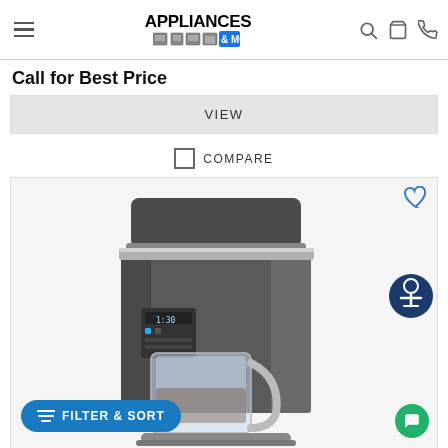Appliances & More – site navigation header
Call for Best Price
VIEW
COMPARE
[Figure (photo): KitchenAid drip coffee maker in dark charcoal/graphite metallic color with stainless steel accents and glass carafe]
FILTER & SORT